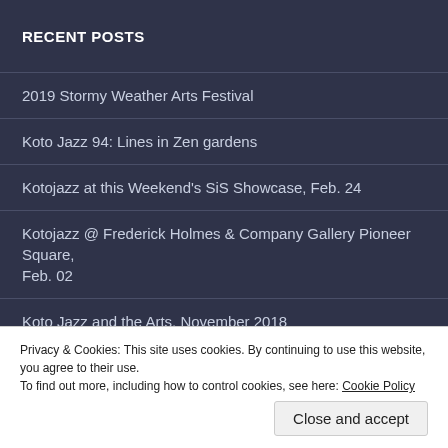RECENT POSTS
2019 Stormy Weather Arts Festival
Koto Jazz 94: Lines in Zen gardens
Kotojazz at this Weekend's SiS Showcase, Feb. 24
Kotojazz @ Frederick Holmes & Company Gallery Pioneer Square, Feb. 02
Koto Jazz and the Arts, November 2018
Koto Jazz @ NW Folklife, Seattle Center Theater
Privacy & Cookies: This site uses cookies. By continuing to use this website, you agree to their use.
To find out more, including how to control cookies, see here: Cookie Policy
Close and accept